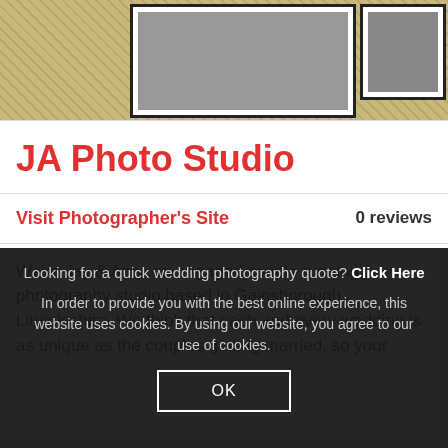[Figure (photo): Straw/hay background with framed photos visible at top of page]
JA Photo Studio
Visit Photographer's Site   0 reviews
We're Jay & Amy, an engaged couple running a photography studio based in Gainsborough, Lincolnshire. We think that each and every wedding is as unique as the couples getting married, so your
Looking for a quick wedding photography quote? Click Here
In order to provide you with the best online experience, this website uses cookies. By using our website, you agree to our use of cookies.
OK